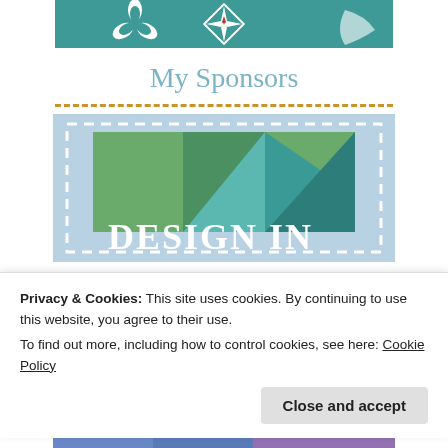[Figure (illustration): Teal banner with decorative white snowflake/leaf and geometric compass-like designs at the top of the page]
My Sponsors
[Figure (logo): Sponsor image box with light blue background, dashed white border, colorful green and teal squares/triangles design, and large text 'DESIGN IN' partially visible]
Privacy & Cookies: This site uses cookies. By continuing to use this website, you agree to their use.
To find out more, including how to control cookies, see here: Cookie Policy
[Figure (illustration): Bottom partial image with blue/purple tones partially visible]